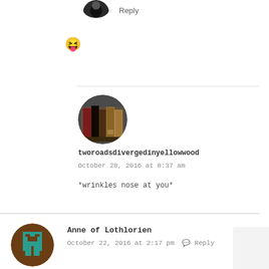[Figure (photo): Partial circular avatar image at top, showing dark background, partially cropped]
Reply
😝
[Figure (photo): Circular avatar showing stacked books on a shelf — red, dark brown, tan spines]
tworoadsdivergedinyellowwood
October 28, 2016 at 8:37 am
*wrinkles nose at you*
[Figure (illustration): Circular avatar with brown background and a teal/turquoise pixel-art style robot or game character icon]
Anne of Lothlorien
October 22, 2016 at 2:17 pm
Reply